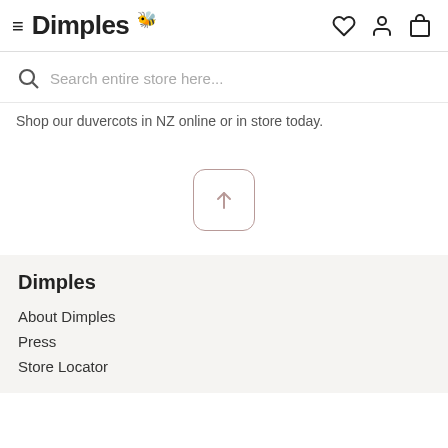≡ Dimples 🐝  [heart] [user] [bag]
Search entire store here...
Shop our duvercots in NZ online or in store today.
[Figure (other): Scroll-to-top button: a rounded square icon with an upward arrow]
Dimples
About Dimples
Press
Store Locator